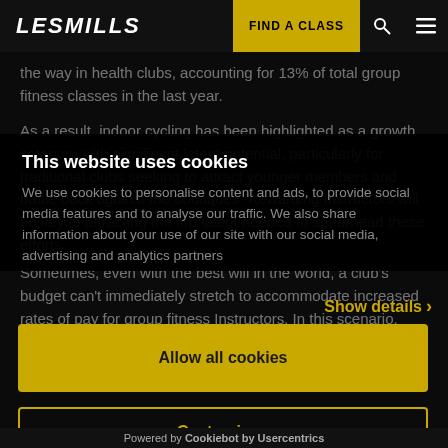Les Mills | FIND A CLASS
the way in health clubs, accounting for 13% of total group fitness classes in the last year.

As a result, indoor cycling has been highlighted as a growth category with significant latent potential, particularly for traditional clubs seeking to attract younger members and battle back against the boutiques. Rewarding Instructors will be key to attracting the top talent needed to spearhead these efforts.
This website uses cookies
We use cookies to personalise content and ads, to provide social media features and to analyse our traffic. We also share information about your use of our site with our social media, advertising and analytics partners
Show details ›
5) MORE THAN JUST MONEY
Allow all cookies
Sometimes, even with the best will in the world, a club's budget can't immediately stretch to accommodate increased rates of pay for group fitness Instructors. In this scenario, there are many other options a club can take to ensure Instructors feel
Customize ›
Powered by Cookiebot by Usercentrics